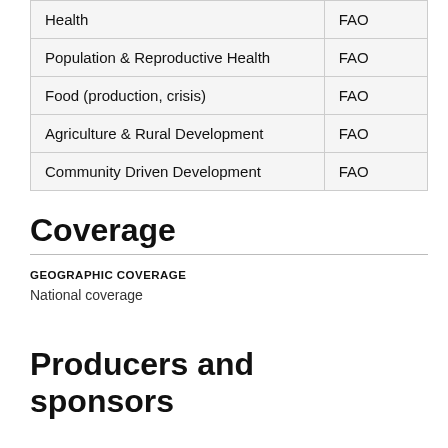| Health | FAO |
| Population & Reproductive Health | FAO |
| Food (production, crisis) | FAO |
| Agriculture & Rural Development | FAO |
| Community Driven Development | FAO |
Coverage
GEOGRAPHIC COVERAGE
National coverage
Producers and sponsors